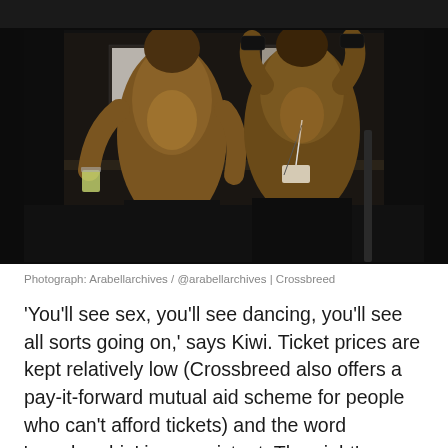[Figure (photo): Two shirtless muscular individuals in a dark nightclub setting, wearing black leather/fetish attire. One holds a drink, the other has arms raised behind head with wristbands. Dark background with posters on wall.]
Photograph: Arabellarchives / @arabellarchives | Crossbreed
'You'll see sex, you'll see dancing, you'll see all sorts going on,' says Kiwi. Ticket prices are kept relatively low (Crossbreed also offers a pay-it-forward mutual aid scheme for people who can't afford tickets) and the word 'membership' is nonexistent. The night's success has led it to take up a weekly Sunday residency at Colour Factory,